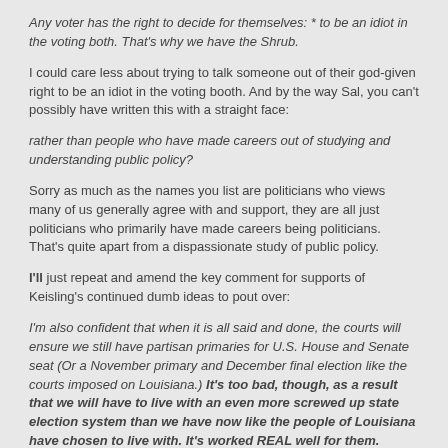Any voter has the right to decide for themselves: * to be an idiot in the voting both. That's why we have the Shrub.
I could care less about trying to talk someone out of their god-given right to be an idiot in the voting booth. And by the way Sal, you can't possibly have written this with a straight face:
rather than people who have made careers out of studying and understanding public policy?
Sorry as much as the names you list are politicians who views many of us generally agree with and support, they are all just politicians who primarily have made careers being politicians. That's quite apart from a dispassionate study of public policy.
I'll just repeat and amend the key comment for supports of Keisling's continued dumb ideas to pout over:
I'm also confident that when it is all said and done, the courts will ensure we still have partisan primaries for U.S. House and Senate seat (Or a November primary and December final election like the courts imposed on Louisiana.) It's too bad, though, as a result that we will have to live with an even more screwed up state election system than we have now like the people of Louisiana have chosen to live with. It's worked REAL well for them.
Read the reasoning of Foster v. Love (1997) and Love v. Foster (1998). Not the part why declaring a winner early as a result of an open primary was illegal, but the part about why it was made illegal by the U.S. Congress more than 100 years ago. And as I noted, even Louisiana has finally grew-up and wised-up in 2006 and changed to closed primaries for U.S. House and Senate races..
The fact that our idiot-boy former SOS has been collaborating in this with Sam Reed --- the dumbest statewide elected official in Washington state, a close 2nd to they attorney general...